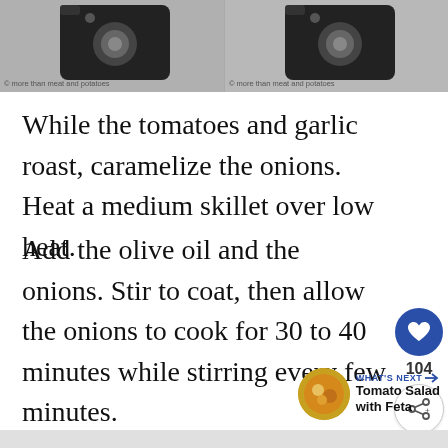[Figure (photo): Two black and white side-by-side images of cookware/skillet with watermark text '© more than meat and potatoes' at bottom left of each image]
While the tomatoes and garlic roast, caramelize the onions. Heat a medium skillet over low heat.
Add the olive oil and the onions. Stir to coat, then allow the onions to cook for 30 to 40 minutes while stirring every few minutes.
[Figure (infographic): Social sidebar with heart/like button showing 104 likes and a share button]
[Figure (infographic): WHAT'S NEXT arrow label with circular food photo thumbnail and text 'Tomato Salad with Feta']